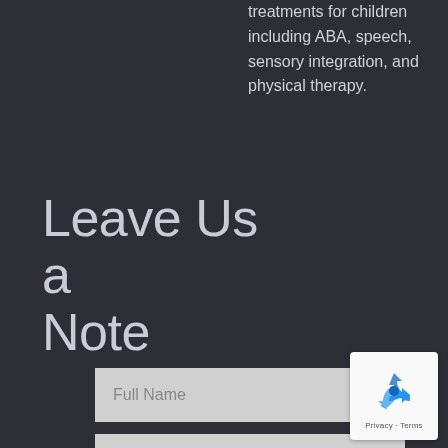treatments for children including ABA, speech, sensory integration, and physical therapy.
Leave Us a Note
Full Name
Email Address
Subject
Message
[Figure (other): reCAPTCHA widget with recycling arrow icon and Privacy - Terms text]